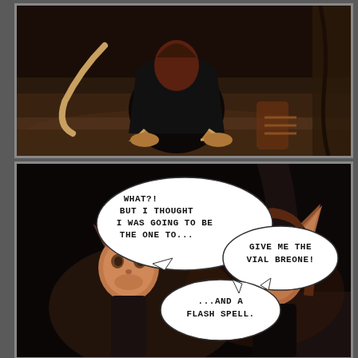[Figure (illustration): Top comic panel: Dark scene showing a creature/character kneeling on rocky ground, with a long tail visible. Dark brown and shadowy environment.]
[Figure (illustration): Bottom comic panel: Two fantasy characters with pointed ears in a dark cave setting. Speech bubbles: First character says 'WHAT?! BUT I THOUGHT I WAS GOING TO BE THE ONE TO...' Second character says 'GIVE ME THE VIAL BREONE!' Third bubble says '...AND A FLASH SPELL.']